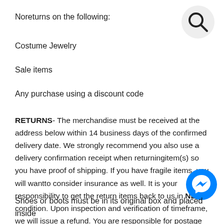Noreturns on the following:
[Figure (illustration): Search icon — magnifying glass inside a light gray circle]
Costume Jewelry
Sale items
Any purchase using a discount code
RETURNS- The merchandise must be received at the address below within 14 business days of the confirmed delivery date. We strongly recommend you also use a delivery confirmation receipt when returningitem(s) so you have proof of shipping. If you have fragile items, you will wantto consider insurance as well. It is your responsibility to get the return items back to us in NEW condition. Upon inspection and verification of timeframe, we will issue a refund. You are responsible for postage when returning an item unless it's our error.
[Figure (illustration): Facebook Messenger icon — blue circle with white lightning bolt chat symbol]
Shoes or boots must be in its original box and placed inside